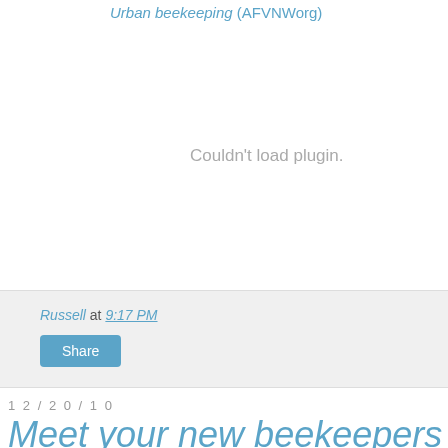Urban beekeeping (AFVNWorg)
[Figure (other): Plugin area showing 'Couldn't load plugin.' message]
Russell at 9:17 PM
Share
12/20/10
Meet your new beekeepers